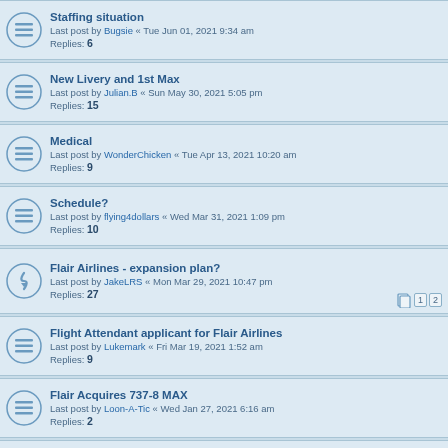Staffing situation
Last post by Bugsie « Tue Jun 01, 2021 9:34 am
Replies: 6
New Livery and 1st Max
Last post by Julian.B « Sun May 30, 2021 5:05 pm
Replies: 15
Medical
Last post by WonderChicken « Tue Apr 13, 2021 10:20 am
Replies: 9
Schedule?
Last post by flying4dollars « Wed Mar 31, 2021 1:09 pm
Replies: 10
Flair Airlines - expansion plan?
Last post by JakeLRS « Mon Mar 29, 2021 10:47 pm
Replies: 27
Flight Attendant applicant for Flair Airlines
Last post by Lukemark « Fri Mar 19, 2021 1:52 am
Replies: 9
Flair Acquires 737-8 MAX
Last post by Loon-A-Tic « Wed Jan 27, 2021 6:16 am
Replies: 2
Hiring- B737 FO's CYYZ & CYVR/CYXX
Last post by Soyer « Mon Jan 18, 2021 8:33 pm
Replies: 42
Flair rehires all laid off employees
Last post by Donald « Sat Dec 19, 2020 8:51 pm
Replies: 9